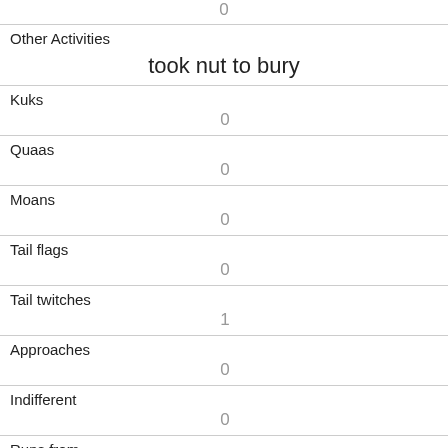| 0 |
| Other Activities | took nut to bury |
| Kuks | 0 |
| Quaas | 0 |
| Moans | 0 |
| Tail flags | 0 |
| Tail twitches | 1 |
| Approaches | 0 |
| Indifferent | 0 |
| Runs from | 1 |
| Other Interactions |  |